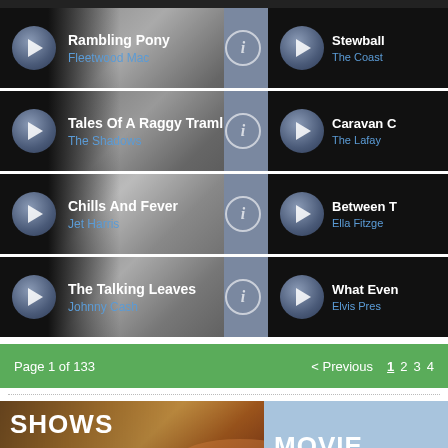Rambling Pony - Fleetwood Mac
Stewball - The Coast
Tales Of A Raggy Tramline - The Shadows
Caravan C... - The Lafay...
Chills And Fever - Jet Harris
Between T... - Ella Fitzge...
The Talking Leaves - Johnny Cash
What Even... - Elvis Pres...
Page 1 of 133   < Previous   1 2 3 4
[Figure (screenshot): SHOWS banner with silhouette soldiers at sunset]
[Figure (screenshot): MOVIE banner with light blue background]